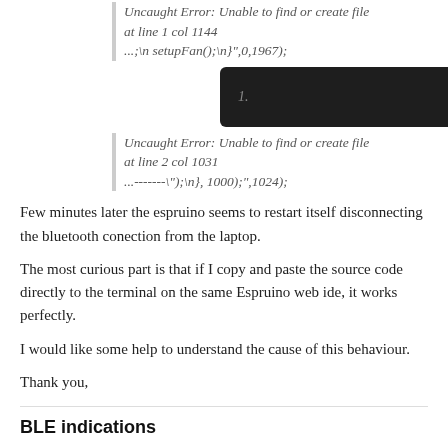[Figure (screenshot): Dark terminal/editor bar showing line number '1.' on the left and a caret symbol on the right, on a dark background.]
Uncaught Error: Unable to find or create file at line 1 col 1144
...;\n setupFan();\n}",0,1967);
Uncaught Error: Unable to find or create file at line 2 col 1031
...-------\");\n}, 1000);",1024);
Few minutes later the espruino seems to restart itself disconnecting the bluetooth conection from the laptop.
The most curious part is that if I copy and paste the source code directly to the terminal on the same Espruino web ide, it works perfectly.
I would like some help to understand the cause of this behaviour.
Thank you,
BLE indications